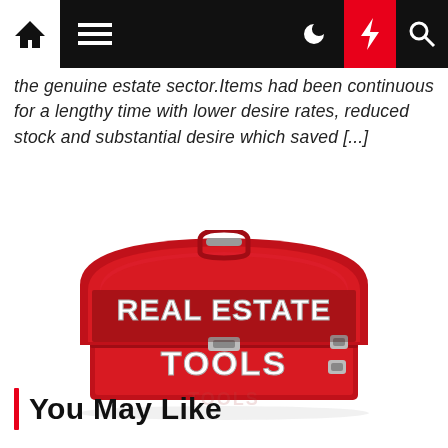Navigation bar with home, menu, moon, lightning, and search icons
the genuine estate sector.Items had been continuous for a lengthy time with lower desire rates, reduced stock and substantial desire which saved [...]
[Figure (photo): Red toolbox open with bold white 3D text reading REAL ESTATE TOOLS]
You May Like